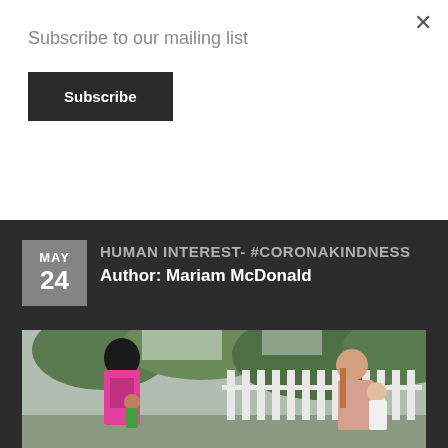Subscribe to our mailing list
Subscribe
× (close button)
HUMAN INTEREST- #CORONAKINDNESS
Author: Mariam McDonald
[Figure (photo): Two women and two children outdoors near a white picket fence with trees in the background. One woman in pink is turned away with a child near her, another woman in striped top smiles at camera with a young girl.]